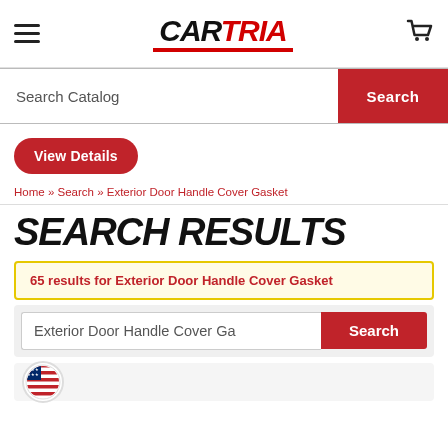CARTRIA - navigation header with hamburger menu, logo, and cart icon
Search Catalog
Search
View Details
Home » Search » Exterior Door Handle Cover Gasket
SEARCH RESULTS
65 results for Exterior Door Handle Cover Gasket
Exterior Door Handle Cover Ga
Search
[Figure (logo): Partial view of a US flag circular badge at bottom of page]